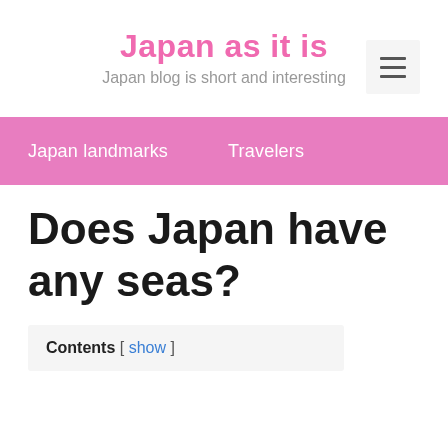Japan as it is
Japan blog is short and interesting
Japan landmarks   Travelers
Does Japan have any seas?
Contents [ show ]